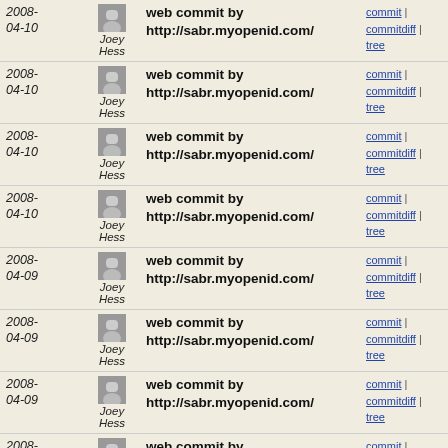| Date | Author | Message | Links |
| --- | --- | --- | --- |
| 2008-04-10 | Joey Hess | web commit by http://sabr.myopenid.com/ | commit | commitdiff | tree |
| 2008-04-10 | Joey Hess | web commit by http://sabr.myopenid.com/ | commit | commitdiff | tree |
| 2008-04-10 | Joey Hess | web commit by http://sabr.myopenid.com/ | commit | commitdiff | tree |
| 2008-04-10 | Joey Hess | web commit by http://sabr.myopenid.com/ | commit | commitdiff | tree |
| 2008-04-09 | Joey Hess | web commit by http://sabr.myopenid.com/ | commit | commitdiff | tree |
| 2008-04-09 | Joey Hess | web commit by http://sabr.myopenid.com/ | commit | commitdiff | tree |
| 2008-04-09 | Joey Hess | web commit by http://sabr.myopenid.com/ | commit | commitdiff | tree |
| 2008-04-09 | Joey Hess | web commit by http://sabr.myopenid.com/ | commit | commitdiff | tree |
| 2008-04-09 | Joey Hess | web commit by http://sabr.myopenid.com/ | commit | commitdiff | tree |